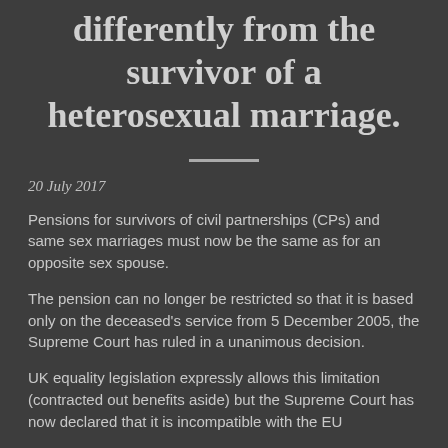differently from the survivor of a heterosexual marriage.
20 July 2017
Pensions for survivors of civil partnerships (CPs) and same sex marriages must now be the same as for an opposite sex spouse.
The pension can no longer be restricted so that it is based only on the deceased's service from 5 December 2005, the Supreme Court has ruled in a unanimous decision.
UK equality legislation expressly allows this limitation (contracted out benefits aside) but the Supreme Court has now declared that it is incompatible with the EU